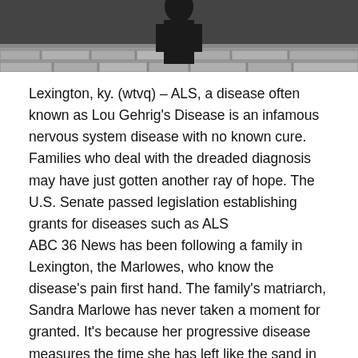[Figure (photo): Top portion of a photo showing a person standing in front of a stone/brick wall background, cropped at the top of the page.]
Lexington, ky. (wtvq) – ALS, a disease often known as Lou Gehrig's Disease is an infamous nervous system disease with no known cure. Families who deal with the dreaded diagnosis may have just gotten another ray of hope. The U.S. Senate passed legislation establishing grants for diseases such as ALS
ABC 36 News has been following a family in Lexington, the Marlowes, who know the disease's pain first hand. The family's matriarch, Sandra Marlowe has never taken a moment for granted. It's because her progressive disease measures the time she has left like the sand in an hourglass.
Marlowe was first diagnosed in March of 2020. ALS has caused a world of change for this once active and competitive athlete. When we last spoke to her in august, she had more mobility, could speak clearly, and eat some foods orally. Its